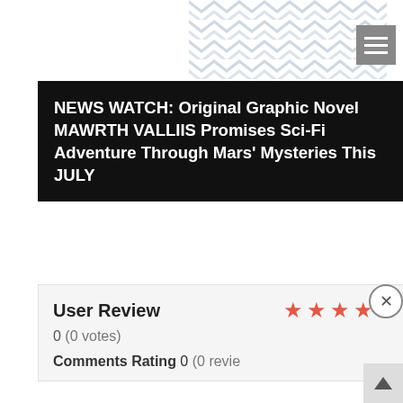[Figure (illustration): Decorative chevron/arrow pattern in blue-gray tones at top of page, partially visible]
NEWS WATCH: Original Graphic Novel MAWRTH VALLIIS Promises Sci-Fi Adventure Through Mars' Mysteries This JULY
User Review
[Figure (infographic): Five red/coral colored star rating icons]
0 (0 votes)
Comments Rating 0 (0 revie…
Share this:
Facebook  Twitter  Tumblr
[Figure (screenshot): Black video player overlay rectangle]
[Figure (other): Bloomingdales advertisement: 'bloomingdales — View Today's Top Deals!' with a woman in a hat and SHOP NOW > button]
CLOSE
Like this: